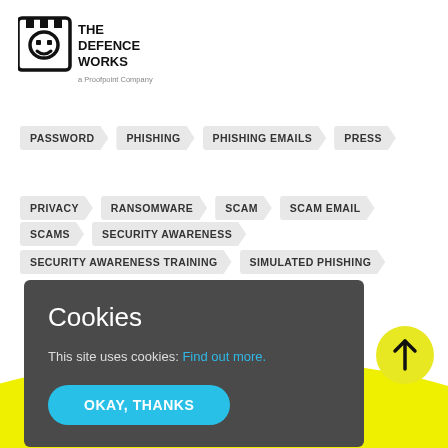[Figure (logo): The Defence Works - a Proofpoint Company logo]
PASSWORD
PHISHING
PHISHING EMAILS
PRESS
PRIVACY
RANSOMWARE
SCAM
SCAM EMAIL
SCAMS
SECURITY AWARENESS
SECURITY AWARENESS TRAINING
SIMULATED PHISHING
Cookies
This site uses cookies: Find out more.
OKAY, THANKS